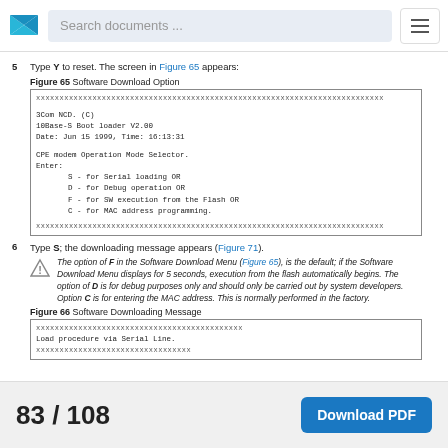Search documents ...
5  Type Y to reset. The screen in Figure 65 appears:
Figure  65 Software Download Option
[Figure (screenshot): Terminal screen showing 3Com NCD boot loader menu with options S, D, F, C]
6  Type S; the downloading message appears (Figure 71).
The option of F in the Software Download Menu (Figure 65), is the default; if the Software Download Menu displays for 5 seconds, execution from the flash automatically begins. The option of D is for debug purposes only and should only be carried out by system developers. Option C is for entering the MAC address. This is normally performed in the factory.
Figure  66 Software Downloading Message
[Figure (screenshot): Terminal screen showing: Load procedure via Serial Line.]
83 / 108